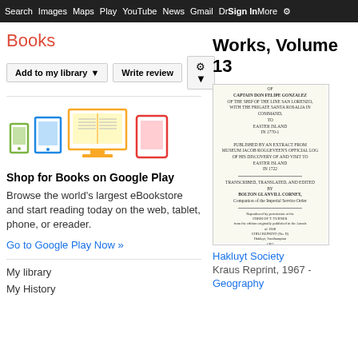Search  Images  Maps  Play  YouTube  News  Gmail  Drive  More  Sign In  ⚙
Books
[Figure (screenshot): Google Books UI buttons: Add to my library, Write review, gear/settings icon with dropdown arrow]
[Figure (illustration): Device icons: phone (green), tablet (blue), monitor with open book (yellow/orange), e-reader (red)]
Shop for Books on Google Play
Browse the world's largest eBookstore and start reading today on the web, tablet, phone, or ereader.
Go to Google Play Now »
My library
My History
Works, Volume 13
[Figure (photo): Book cover of 'The Voyage of Captain Don Felipe Gonzalez' published by Hakluyt Society, translated by Bolton Glanvill Corney]
Hakluyt Society
Kraus Reprint, 1967 -
Geography